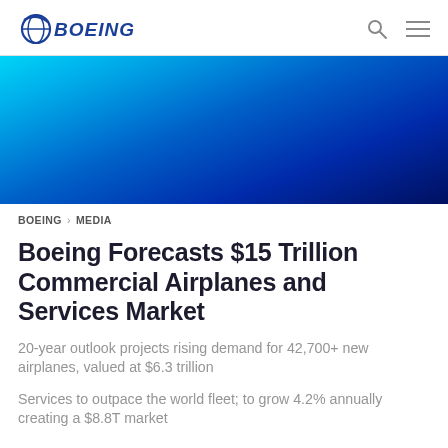BOEING
[Figure (illustration): Boeing blue gradient hero banner image]
BOEING > MEDIA
Boeing Forecasts $15 Trillion Commercial Airplanes and Services Market
20-year outlook projects rising demand for 42,700+ new airplanes, valued at $6.3 trillion
Services to outpace the world fleet; to grow 4.2% annually creating a $8.8T market